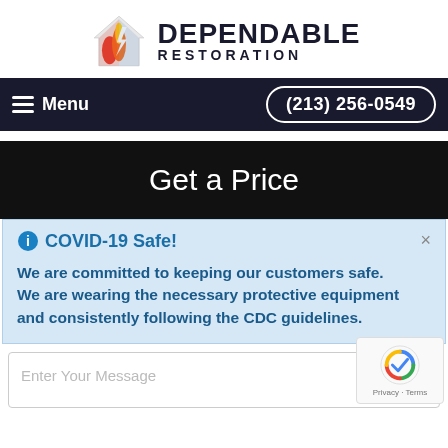[Figure (logo): Dependable Restoration logo with flame/house icon and brand text]
Menu  (213) 256-0549
Get a Price
COVID-19 Safe!
We are committed to keeping our customers safe. We are wearing the necessary protective equipment and consistently following the CDC guidelines.
Enter Your Message